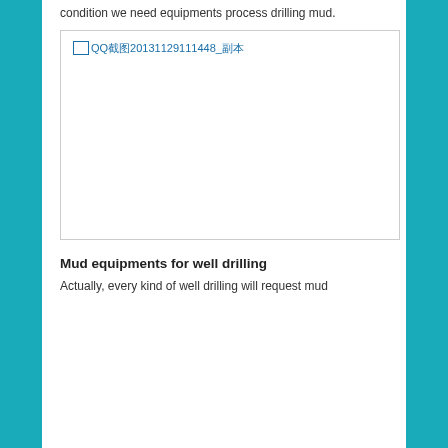condition we need equipments process drilling mud.
[Figure (photo): Image placeholder showing a broken/missing image icon with filename QQ截图20131129111448_副本]
Mud equipments for well drilling
Actually, every kind of well drilling will request mud